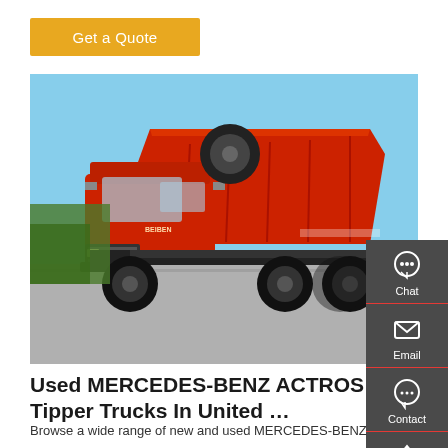Get a Quote
[Figure (photo): Red Mercedes-Benz Actros tipper dump truck parked in a yard, side view showing the large red dump body raised slightly, multiple axles visible, blue sky background]
Chat
Email
Contact
Top
Used MERCEDES-BENZ ACTROS Tipper Trucks In United …
Browse a wide range of new and used MERCEDES-BENZ